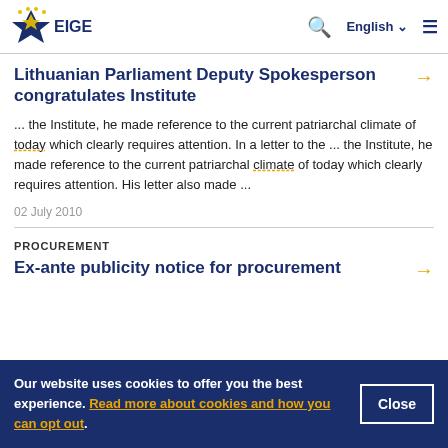EIGE | English
Lithuanian Parliament Deputy Spokesperson congratulates Institute
... the Institute, he made reference to the current patriarchal climate of today which clearly requires attention. In a letter to the ... the Institute, he made reference to the current patriarchal climate of today which clearly requires attention. His letter also made ...
02 July 2010
PROCUREMENT
Ex-ante publicity notice for procurement
Our website uses cookies to offer you the best experience. Read more about cookies and how you can opt out.